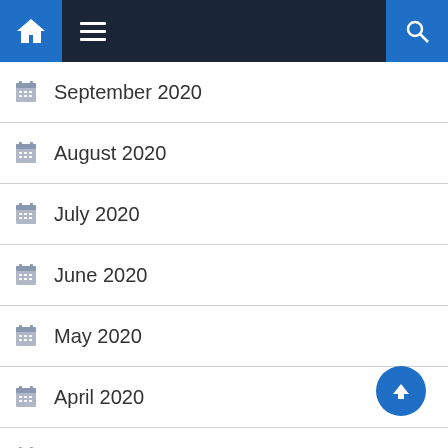Navigation bar with home, menu, and search icons
September 2020
August 2020
July 2020
June 2020
May 2020
April 2020
March 2020
January 2020
December 2019
November 2019